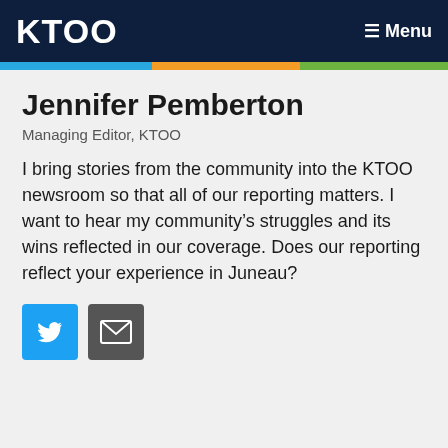KTOO   ≡ Menu
Jennifer Pemberton
Managing Editor, KTOO
I bring stories from the community into the KTOO newsroom so that all of our reporting matters. I want to hear my community's struggles and its wins reflected in our coverage. Does our reporting reflect your experience in Juneau?
[Figure (illustration): Twitter social media icon (blue square with white bird) and email icon (dark grey square with white envelope)]